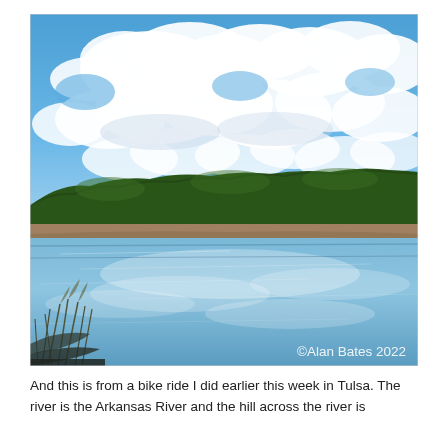[Figure (photo): Outdoor landscape photograph of the Arkansas River in Tulsa. The upper half shows a blue sky with large white cumulus clouds. The middle of the image shows a forested green hillside running across the horizon. The lower half shows the calm river water reflecting the blue sky and clouds. Tall grasses are visible in the foreground lower left. A watermark reads '©Alan Bates 2022' in the lower right corner.]
And this is from a bike ride I did earlier this week in Tulsa. The river is the Arkansas River and the hill across the river is